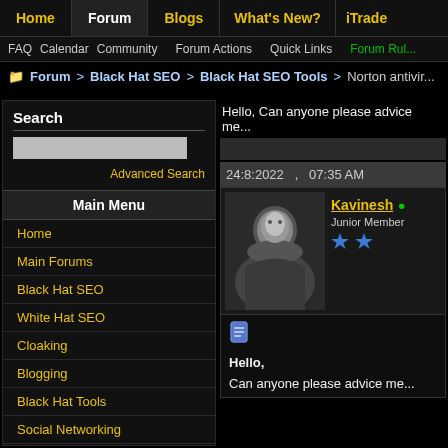Home | Forum | Blogs | What's New? | iTrade
FAQ  Calendar  Community  Forum Actions  Quick Links  Forum Rules
Forum > Black Hat SEO > Black Hat SEO Tools > Norton antivir...
Search
Advanced Search
Main Menu
Home
Main Forums
Black Hat SEO
White Hat SEO
Cloaking
Blogging
Black Hat Tools
Social Networking
Hello, Can anyone please advice me
24:8:2022 ,   07:35 AM
Kavinesh • Junior Member
Hello,

Can anyone please advice me